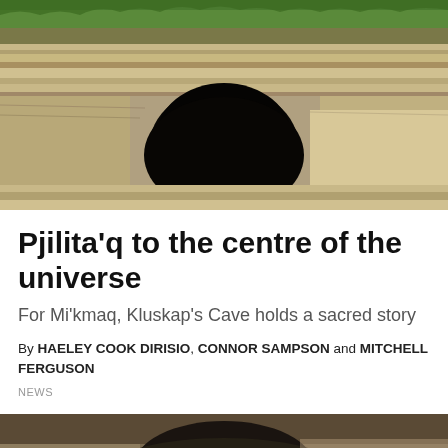[Figure (photo): Photograph of Kluskap's Cave, showing layered limestone rock formations with a large dark cave opening. Green vegetation visible at the top of the image.]
Pjilita'q to the centre of the universe
For Mi'kmaq, Kluskap's Cave holds a sacred story
By HAELEY COOK DIRISIO, CONNOR SAMPSON and MITCHELL FERGUSON
NEWS
[Figure (photo): Bottom portion of a second photograph showing a person wearing a dark hat, partially cropped.]